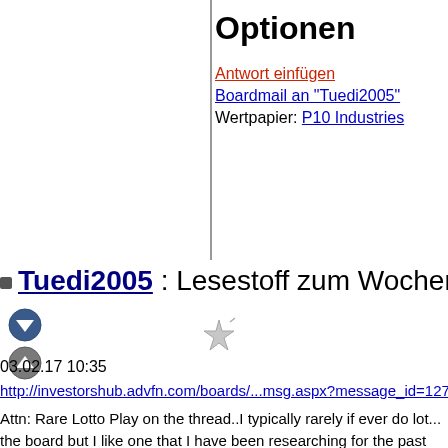Optionen
Antwort einfügen
Boardmail an "Tuedi2005"
Wertpapier: P10 Industries
Tuedi2005 : Lesestoff zum Wochenende
03.02.17 10:35
http://investorshub.advfn.com/boards/...msg.aspx?message_id=127...
Attn: Rare Lotto Play on the thread..I typically rarely if ever do lot... the board but I like one that I have been researching for the past fe... two to three per year if that. They have always been biotech stocks... biotech stock I have allowed & it is awaiting news here shortly. AS... DD on the stock. The ticker is $PIOI. That is a LOTTO play on the...
DD from ASH111..PIOI Full DD, 01/04/17 : Mid-Long Term holdi...